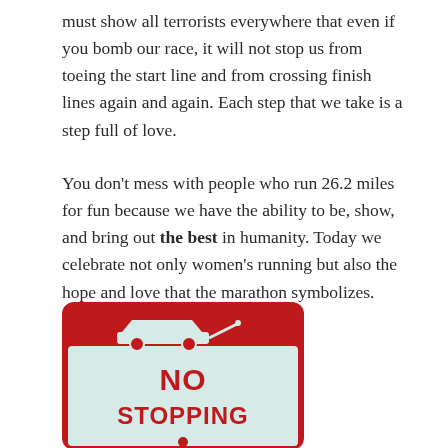must show all terrorists everywhere that even if you bomb our race, it will not stop us from toeing the start line and from crossing finish lines again and again. Each step that we take is a step full of love.
You don't mess with people who run 26.2 miles for fun because we have the ability to be, show, and bring out the best in humanity. Today we celebrate not only women's running but also the hope and love that the marathon symbolizes. #BostonStrong
[Figure (photo): A red and white 'NO STOPPING' sign with a tow-away car icon at the top and a small figure at the bottom.]